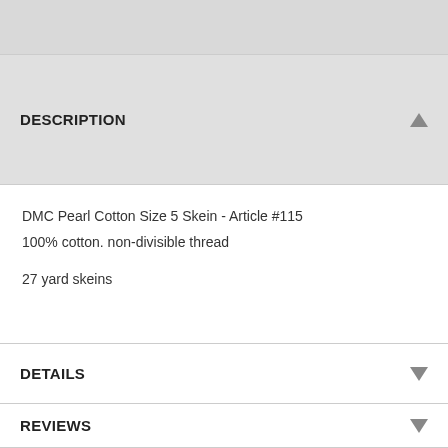[Figure (other): Grey top bar image/banner area]
DESCRIPTION
DMC Pearl Cotton Size 5 Skein - Article #115
100% cotton. non-divisible thread

27 yard skeins
DETAILS
REVIEWS